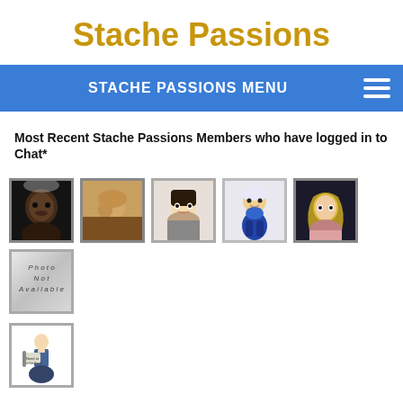Stache Passions
STACHE PASSIONS MENU
Most Recent Stache Passions Members who have logged in to Chat*
[Figure (photo): Row of 6 member profile photos with borders, plus 1 additional profile photo in second row below]
[Figure (photo): Single member profile photo in second row]